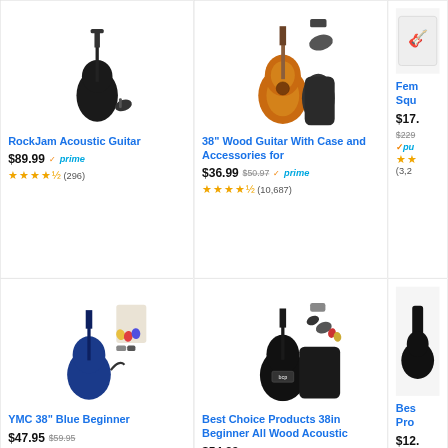[Figure (photo): RockJam acoustic guitar product image]
RockJam Acoustic Guitar
$89.99 prime (296) ★★★★½
[Figure (photo): 38 inch wood guitar with case and accessories product image]
38" Wood Guitar With Case and Accessories for
$36.99 $50.97 prime ★★★★½ (10,687)
[Figure (photo): Partial product image top right]
Fem Squ $17. $229 ✓pu ★★ (3,2
[Figure (photo): YMC 38 inch blue beginner guitar kit product image]
YMC 38" Blue Beginner
$47.95 $59.95 ✓prime ★★★★½ (4,627)
[Figure (photo): Best Choice Products 38in beginner all wood acoustic guitar kit product image]
Best Choice Products 38in Beginner All Wood Acoustic
$54.99 $88.99 ★★★★ (31,426)
Bes Pro $12. ★★ (7,4